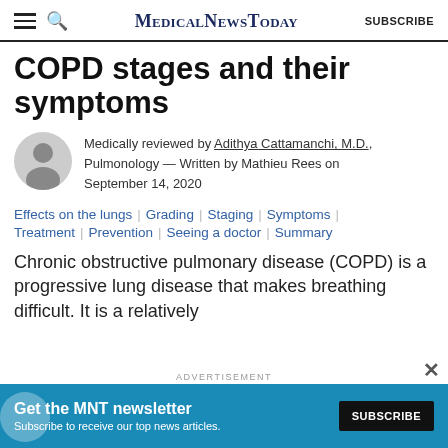MedicalNewsToday | SUBSCRIBE
COPD stages and their symptoms
Medically reviewed by Adithya Cattamanchi, M.D., Pulmonology — Written by Mathieu Rees on September 14, 2020
Effects on the lungs | Grading | Staging | Symptoms | Treatment | Prevention | Seeing a doctor | Summary
Chronic obstructive pulmonary disease (COPD) is a progressive lung disease that makes breathing difficult. It is a relatively
[Figure (infographic): Advertisement banner: Get the MNT newsletter - Subscribe to receive our top news articles. SUBSCRIBE button.]